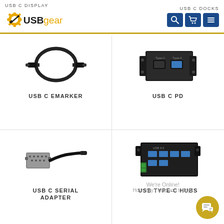[Figure (screenshot): USBGear website header with logo, navigation links USB C DISPLAY and USB C DOCKS, and search/cart/menu icon buttons]
[Figure (photo): USB C Emarker cable - black coiled USB-C cable]
[Figure (photo): USB C PD device - black metal panel mount USB hub]
USB C EMARKER
USB C PD
[Figure (photo): USB C Serial Adapter - black adapter with DB9 serial port and USB-C cable]
[Figure (photo): USB Type-C Hubs - black industrial USB hub with blue ports and green terminal]
USB C SERIAL ADAPTER
USB TYPE-C HUBS
We're Online! How may I help you today?